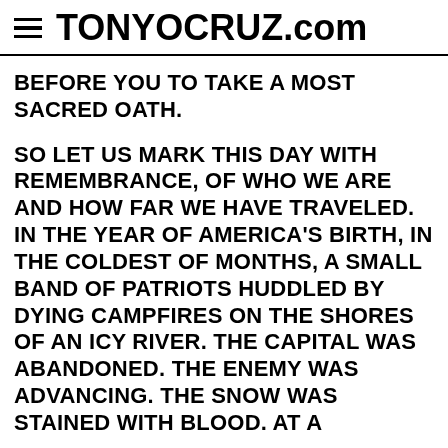TONYOCRUZ.com
BEFORE YOU TO TAKE A MOST SACRED OATH.
SO LET US MARK THIS DAY WITH REMEMBRANCE, OF WHO WE ARE AND HOW FAR WE HAVE TRAVELED. IN THE YEAR OF AMERICA'S BIRTH, IN THE COLDEST OF MONTHS, A SMALL BAND OF PATRIOTS HUDDLED BY DYING CAMPFIRES ON THE SHORES OF AN ICY RIVER. THE CAPITAL WAS ABANDONED. THE ENEMY WAS ADVANCING. THE SNOW WAS STAINED WITH BLOOD. AT A